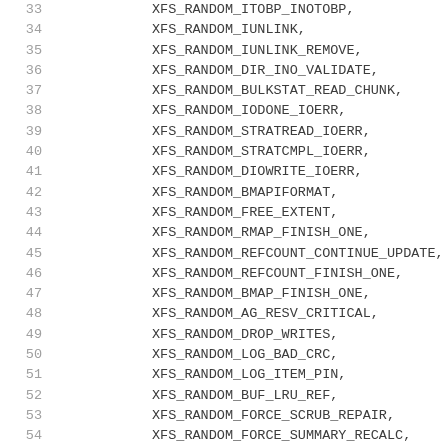33  XFS_RANDOM_ITOBP_INOTOBP,
34  XFS_RANDOM_IUNLINK,
35  XFS_RANDOM_IUNLINK_REMOVE,
36  XFS_RANDOM_DIR_INO_VALIDATE,
37  XFS_RANDOM_BULKSTAT_READ_CHUNK,
38  XFS_RANDOM_IODONE_IOERR,
39  XFS_RANDOM_STRATREAD_IOERR,
40  XFS_RANDOM_STRATCMPL_IOERR,
41  XFS_RANDOM_DIOWRITE_IOERR,
42  XFS_RANDOM_BMAPIFORMAT,
43  XFS_RANDOM_FREE_EXTENT,
44  XFS_RANDOM_RMAP_FINISH_ONE,
45  XFS_RANDOM_REFCOUNT_CONTINUE_UPDATE,
46  XFS_RANDOM_REFCOUNT_FINISH_ONE,
47  XFS_RANDOM_BMAP_FINISH_ONE,
48  XFS_RANDOM_AG_RESV_CRITICAL,
49  XFS_RANDOM_DROP_WRITES,
50  XFS_RANDOM_LOG_BAD_CRC,
51  XFS_RANDOM_LOG_ITEM_PIN,
52  XFS_RANDOM_BUF_LRU_REF,
53  XFS_RANDOM_FORCE_SCRUB_REPAIR,
54  XFS_RANDOM_FORCE_SUMMARY_RECALC,